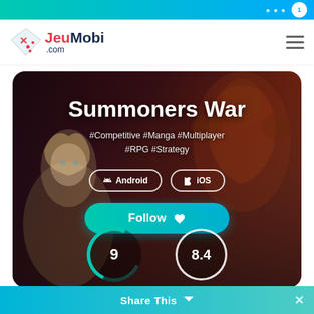JeuMobi.com
[Figure (screenshot): Summoners War game card with fantasy characters background, showing title, hashtags, platform buttons, follow button, and score circles (9 and 8.4)]
Summoners War
#Competitive #Manga #Multiplayer #RPG #Strategy
Android  iOS
Follow
9
8.4
Share This